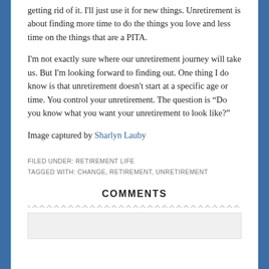getting rid of it. I'll just use it for new things. Unretirement is about finding more time to do the things you love and less time on the things that are a PITA.
I'm not exactly sure where our unretirement journey will take us. But I'm looking forward to finding out. One thing I do know is that unretirement doesn't start at a specific age or time. You control your unretirement. The question is “Do you know what you want your unretirement to look like?”
Image captured by Sharlyn Lauby
FILED UNDER: RETIREMENT LIFE
TAGGED WITH: CHANGE, RETIREMENT, UNRETIREMENT
COMMENTS